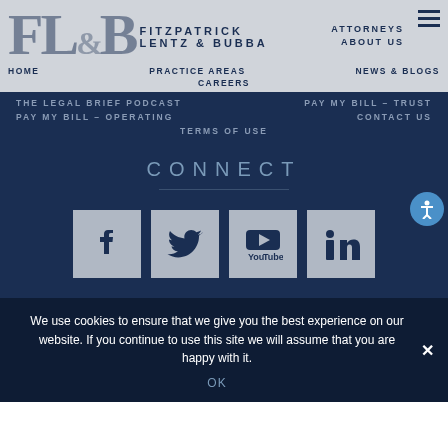[Figure (logo): FL&B Fitzpatrick Lentz & Bubba law firm logo with large serif FL&B letters and firm name]
HOME  FITZPATRICK  ATTORNEYS  PRACTICE AREAS  LENTZ & BUBBA  ABOUT US  CAREERS  NEWS & BLOGS
THE LEGAL BRIEF PODCAST
PAY MY BILL – TRUST
PAY MY BILL – OPERATING
CONTACT US
TERMS OF USE
CONNECT
[Figure (illustration): Four social media icon boxes in a row: Facebook, Twitter, YouTube, LinkedIn — all with dark blue icons on gray background]
We use cookies to ensure that we give you the best experience on our website. If you continue to use this site we will assume that you are happy with it.
OK